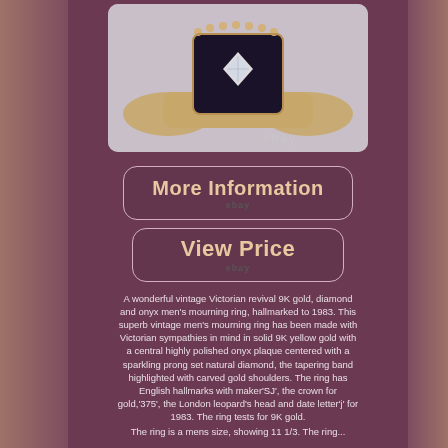[Figure (photo): Vintage Victorian revival 9K gold, diamond and onyx men's mourning ring photographed close-up against a white background. The ring has a dark rectangular onyx stone centered with a small diamond in a prong setting, with decorative gold beading along the shoulders. Ebay watermark visible.]
[Figure (other): More Information button with pink/rose border and ebay label]
[Figure (other): View Price button with pink/rose border and ebay label]
A wonderful vintage Victorian revival 9K gold, diamond and onyx men's mourning ring, hallmarked to 1983. This superb vintage men's mourning ring has been made with Victorian sympathies in mind in solid 9K yellow gold with a central highly polished onyx plaque centered with a sparkling prong set natural diamond, the tapering band highlighted with carved gold shoulders. The ring has English hallmarks with maker'SJ', the crown for gold,'375', the London leopard's head and date letter'j' for 1983. The ring tests for 9K gold.
The ring is a mens size, showing 11 1/3. The ring...